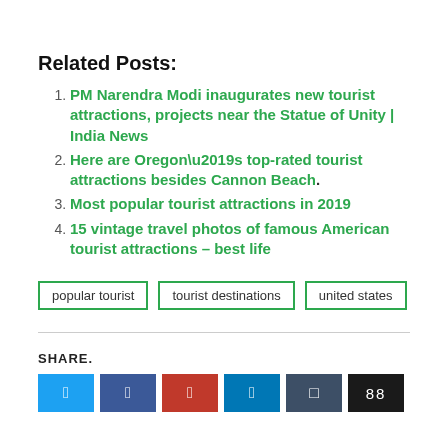Related Posts:
PM Narendra Modi inaugurates new tourist attractions, projects near the Statue of Unity | India News
Here are Oregon’s top-rated tourist attractions besides Cannon Beach.
Most popular tourist attractions in 2019
15 vintage travel photos of famous American tourist attractions – best life
popular tourist | tourist destinations | united states
SHARE.